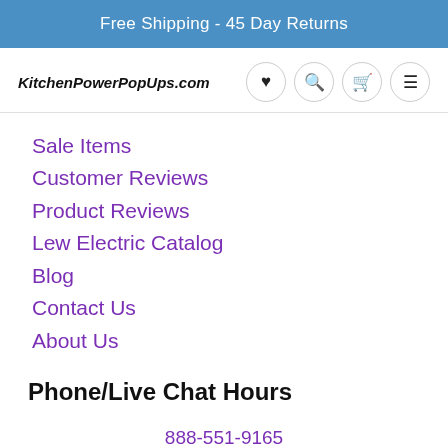Free Shipping - 45 Day Returns
KitchenPowerPopUps.com
Sale Items
Customer Reviews
Product Reviews
Lew Electric Catalog
Blog
Contact Us
About Us
Phone/Live Chat Hours
888-551-9165
Monday - Friday
9AM - 7PM EST
[Figure (infographic): Badge showing 5,000+ with laurel leaves on the left, and a gold seal badge on the right. A blue circular chat button is in the bottom right corner.]